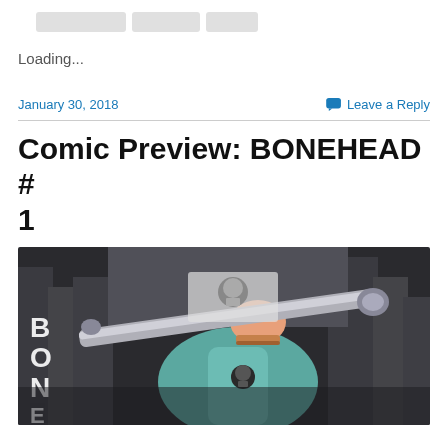Loading...
January 30, 2018
Leave a Reply
Comic Preview: BONEHEAD # 1
[Figure (illustration): Comic book cover illustration of a character in a teal/grey hoodie holding up a large metallic staff/weapon with a fist, set against a dark urban city background. White text 'BONE' visible on left side. A skull logo on the character's shirt.]